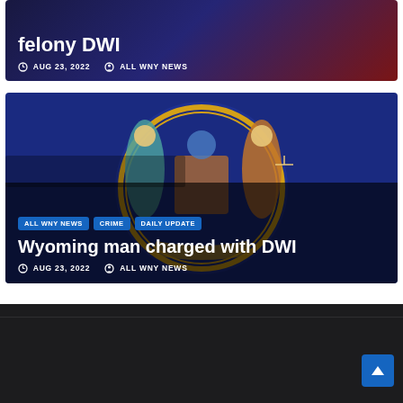[Figure (screenshot): News article card with dark blue/red gradient background showing partial headline 'felony DWI' with date AUG 23, 2022 and author ALL WNY NEWS]
felony DWI
AUG 23, 2022   ALL WNY NEWS
[Figure (photo): New York State seal/emblem on dark blue background with two figures, globe, eagle. Overlaid with category tags ALL WNY NEWS, CRIME, DAILY UPDATE and headline 'Wyoming man charged with DWI', date AUG 23, 2022, author ALL WNY NEWS]
ALL WNY NEWS   CRIME   DAILY UPDATE
Wyoming man charged with DWI
AUG 23, 2022   ALL WNY NEWS